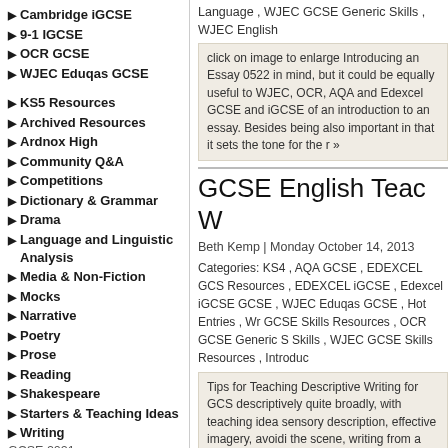▶ Cambridge iGCSE
▶ 9-1 IGCSE
▶ OCR GCSE
▶ WJEC Eduqas GCSE
▶ KS5 Resources
▶ Archived Resources
▶ Ardnox High
▶ Community Q&A
▶ Competitions
▶ Dictionary & Grammar
▶ Drama
▶ Language and Linguistic Analysis
▶ Media & Non-Fiction
▶ Mocks
▶ Narrative
▶ Poetry
▶ Prose
▶ Reading
▶ Shakespeare
▶ Starters & Teaching Ideas
▶ Writing
GCSE 2021
▶ Contact Us
▶ FAQ
Language , WJEC GCSE Generic Skills , WJEC English
click on image to enlarge Introducing an Essay 0522 in mind, but it could be equally useful to WJEC, OCR, AQA and Edexcel GCSE and iGCSE of an introduction to an essay. Besides being also important in that it sets the tone for the r »
GCSE English Teac W
Beth Kemp | Monday October 14, 2013
Categories: KS4 , AQA GCSE , EDEXCEL GCS Resources , EDEXCEL iGCSE , Edexcel iGCSE GCSE , WJEC Eduqas GCSE , Hot Entries , Wr GCSE Skills Resources , OCR GCSE Generic S Skills , WJEC GCSE Skills Resources , Introduc
Tips for Teaching Descriptive Writing for GCS descriptively quite broadly, with teaching idea sensory description, effective imagery, avoidi the scene, writing from a neutral third person various GCSE and Certificate/IGCSE specifi full article ] »